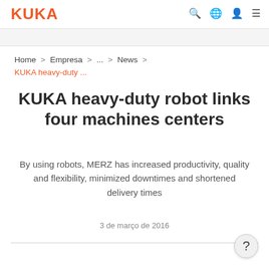KUKA
Home > Empresa > ... > News > KUKA heavy-duty ...
KUKA heavy-duty robot links four machines centers
By using robots, MERZ has increased productivity, quality and flexibility, minimized downtimes and shortened delivery times
3 de março de 2016